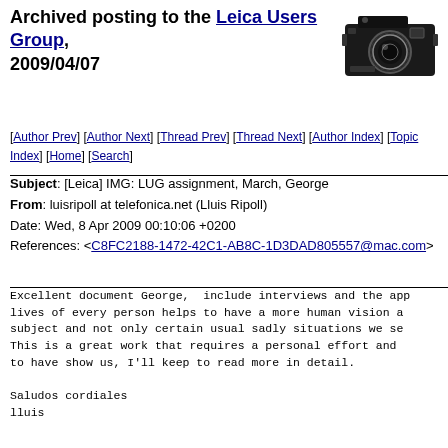Archived posting to the Leica Users Group, 2009/04/07
[Figure (photo): Black and white illustration of a Leica camera]
[Author Prev] [Author Next] [Thread Prev] [Thread Next] [Author Index] [Topic Index] [Home] [Search]
Subject: [Leica] IMG: LUG assignment, March, George
From: luisripoll at telefonica.net (Lluis Ripoll)
Date: Wed, 8 Apr 2009 00:10:06 +0200
References: <C8FC2188-1472-42C1-AB8C-1D3DAD805557@mac.com>
Excellent document George, include interviews and the app
lives of every person helps to have a more human vision a
subject and not only certain usual sadly situations we se
This is a great work that requires a personal effort and
to have show us, I'll keep to read more in detail.

Saludos cordiales
lluis


El 06/04/2009, a las 23:28, George Lottermoser escribi?:

> I've made a brief mention of the LUG Assignment
> <http://www.imagist.com/blog/?p=1105>
> with a link to my take on the assignment
> or